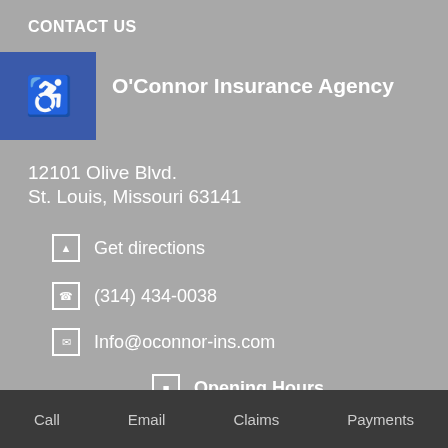CONTACT US
O'Connor Insurance Agency
12101 Olive Blvd.
St. Louis, Missouri 63141
Get directions
(314) 434-0038
Info@oconnor-ins.com
Opening Hours
Monday   8:00 am – 5:00 pm
Call   Email   Claims   Payments